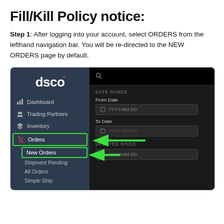how to see your Retailer's Fill/Kill Policy notice:
Step 1: After logging into your account, select ORDERS from the lefthand navigation bar. You will be re-directed to the NEW ORDERS page by default.
[Figure (screenshot): Screenshot of the Dsco platform showing the left navigation sidebar with Dashboard, Trading Partners, Inventory, Orders (highlighted with green border), and New Orders (highlighted with green border and green arrow pointing to it). The right panel shows order filter fields including Date Range with From Date and To Date fields (YYYY-MM-DD), and Updated Since field. Green arrows point to Orders and New Orders items.]